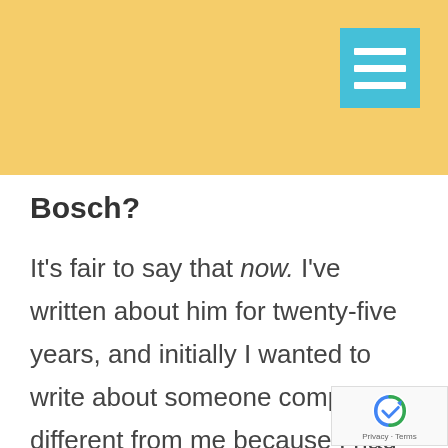[Figure (other): Yellow header bar with teal hamburger menu icon in top right corner]
Bosch?
It’s fair to say that now. I’ve written about him for twenty-five years, and initially I wanted to write about someone completely different from me because I had no idea whether that book would ever get published and I wanted to have fun doing that the year or two that I wrote it. So, initially, we were nothing alike and